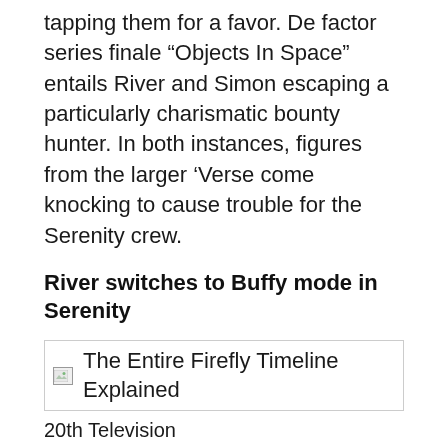tapping them for a favor. De factor series finale “Objects In Space” entails River and Simon escaping a particularly charismatic bounty hunter. In both instances, figures from the larger ‘Verse come knocking to cause trouble for the Serenity crew.
River switches to Buffy mode in Serenity
[Figure (photo): Broken image placeholder with alt text: The Entire Firefly Timeline Explained]
20th Television
After Fox canceled “Firefly,” skyrocketing DVD sales convinced Universal Pictures that there might be money in a “Firefly” movie franchise. Hence, the studio tapped Joss Whedon and